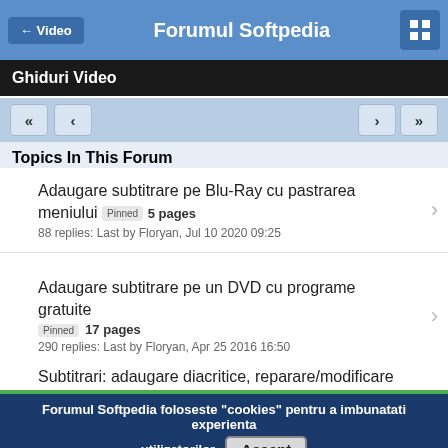← Video   Forumul Softpedia
Ghiduri Video
Adaugare subtitrare pe Blu-Ray cu pastrarea meniului Pinned 5 pages
88 replies: Last by Floryan, Jul 10 2020 09:25
Adaugare subtitrare pe un DVD cu programe gratuite Pinned 17 pages
290 replies: Last by Floryan, Apr 25 2016 16:50
Subtitrari: adaugare diacritice, reparare/modificare
Forumul Softpedia foloseste "cookies" pentru a imbunatati experienta utilizatorilor
Pentru detalii si optiuni legate de cookies si datele personale, consultati Politica de utilizare cookies si Politica de confidentialitate